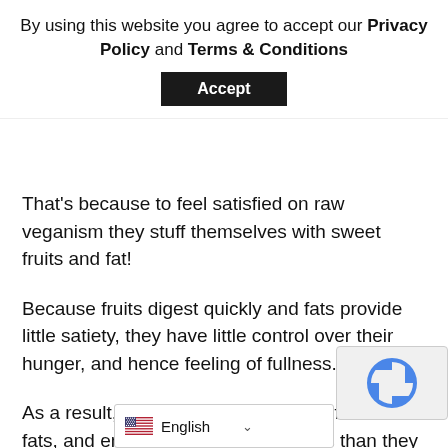By using this website you agree to accept our Privacy Policy and Terms & Conditions
Accept
That's because to feel satisfied on raw veganism they stuff themselves with sweet fruits and fat!
Because fruits digest quickly and fats provide little satiety, they have little control over their hunger, and hence feeling of fullness.
As a result, they often overeat sweet fruits and fats, and end up eating more calories than they used to on a cooked-food diet!
In addition, excessive intake of fat in the long run directly slows down, and even resists their flab loss efforts due to increased insulin resistance